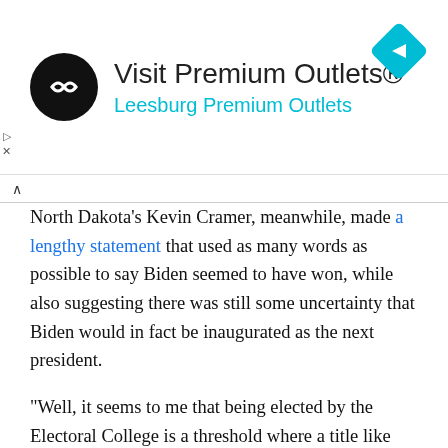[Figure (infographic): Advertisement banner: black circle logo with double-arrow symbol, text 'Visit Premium Outlets®' in dark gray, 'Leesburg Premium Outlets' in cyan/teal, and a cyan diamond navigation icon on the right.]
North Dakota's Kevin Cramer, meanwhile, made a lengthy statement that used as many words as possible to say Biden seemed to have won, while also suggesting there was still some uncertainty that Biden would in fact be inaugurated as the next president.
"Well, it seems to me that being elected by the Electoral College is a threshold where a title like that is probably most appropriate and it's, I suppose you can say official — if there is such a thing as official president-elect, or anything else–elect," he said. "And there's an inauguration that will swear somebody in and that person will be the president of the United States, but whether you call it that or not, you